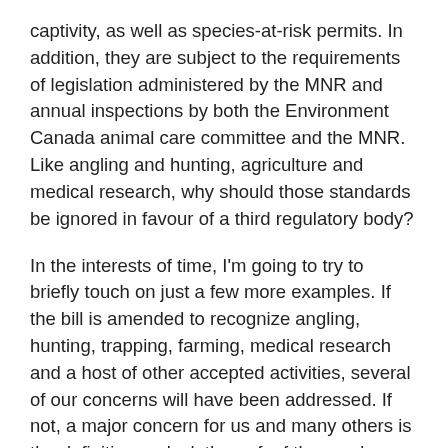captivity, as well as species-at-risk permits. In addition, they are subject to the requirements of legislation administered by the MNR and annual inspections by both the Environment Canada animal care committee and the MNR. Like angling and hunting, agriculture and medical research, why should those standards be ignored in favour of a third regulatory body?
In the interests of time, I'm going to try to briefly touch on just a few more examples. If the bill is amended to recognize angling, hunting, trapping, farming, medical research and a host of other accepted activities, several of our concerns will have been addressed. If not, a major concern for us and many others is the definition, or lack thereof, of the word "distress." The definition included in the bill is the same as in the old act, with its basic flaw of vagueness, since it is defined as "the state of being in need of proper care, water, food or shelter." Frankly, it is a function of being alive that requires constantly being in need of the obvious necessities, which then sets the assertion of